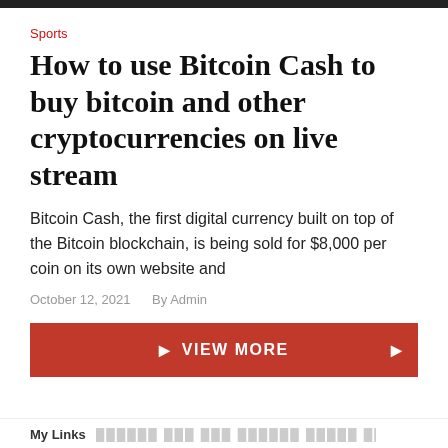Sports
How to use Bitcoin Cash to buy bitcoin and other cryptocurrencies on live stream
Bitcoin Cash, the first digital currency built on top of the Bitcoin blockchain, is being sold for $8,000 per coin on its own website and
October 12, 2021   By Admin
[Figure (other): Red VIEW MORE button with arrow icon, and a red circle button on the right]
My Links  ██████ ███ ███ ██████ █████ ████ ██████████